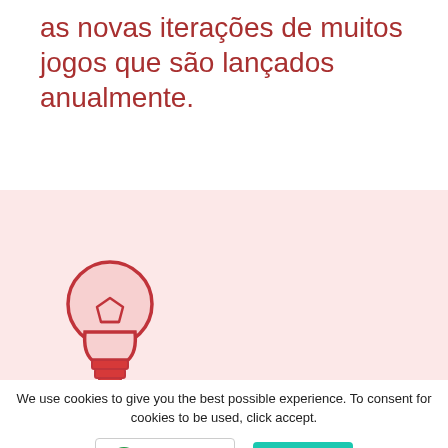as novas iterações de muitos jogos que são lançados anualmente.
[Figure (illustration): Light bulb icon with red outline and pink fill, on a light pink background section]
We use cookies to give you the best possible experience. To consent for cookies to be used, click accept.
PT-BR >
Accept
GDPR compliance powered by Autopilot.